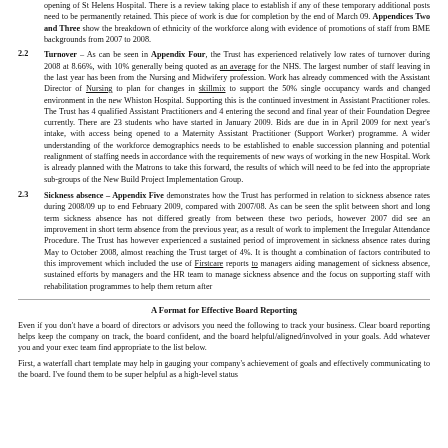opening of St Helens Hospital. There is a review taking place to establish if any of these temporary additional posts need to be permanently retained. This piece of work is due for completion by the end of March 09. Appendices Two and Three show the breakdown of ethnicity of the workforce along with evidence of promotions of staff from BME backgrounds from 2007 to 2008.
2.2 Turnover – As can be seen in Appendix Four, the Trust has experienced relatively low rates of turnover during 2008 at 8.66%, with 10% generally being quoted as an average for the NHS. The largest number of staff leaving in the last year has been from the Nursing and Midwifery profession. Work has already commenced with the Assistant Director of Nursing to plan for changes in skillmix to support the 50% single occupancy wards and changed environment in the new Whiston Hospital. Supporting this is the continued investment in Assistant Practitioner roles. The Trust has 4 qualified Assistant Practitioners and 4 entering the second and final year of their Foundation Degree currently. There are 23 students who have started in January 2009. Bids are due in in April 2009 for next year's intake, with access being opened to a Maternity Assistant Practitioner (Support Worker) programme. A wider understanding of the workforce demographics needs to be established to enable succession planning and potential realignment of staffing needs in accordance with the requirements of new ways of working in the new Hospital. Work is already planned with the Matrons to take this forward, the results of which will need to be fed into the appropriate sub-groups of the New Build Project Implementation Group.
2.3 Sickness absence – Appendix Five demonstrates how the Trust has performed in relation to sickness absence rates during 2008/09 up to end February 2009, compared with 2007/08. As can be seen the split between short and long term sickness absence has not differed greatly from between these two periods, however 2007 did see an improvement in short term absence from the previous year, as a result of work to implement the Irregular Attendance Procedure. The Trust has however experienced a sustained period of improvement in sickness absence rates during May to October 2008, almost reaching the Trust target of 4%. It is thought a combination of factors contributed to this improvement which included the use of Firstcare reports to managers aiding management of sickness absence, sustained efforts by managers and the HR team to manage sickness absence and the focus on supporting staff with rehabilitation programmes to help them return after
A Format for Effective Board Reporting
Even if you don't have a board of directors or advisors you need the following to track your business. Clear board reporting helps keep the company on track, the board confident, and the board helpful/aligned/involved in your goals. Add whatever you and your exec team find appropriate to the list below.
First, a waterfall chart template may help in gauging your company's achievement of goals and effectively communicating to the board. I've found them to be super helpful as a high-level status